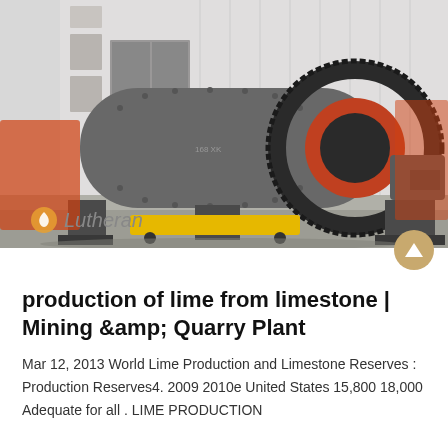[Figure (photo): Industrial ball mill machine photographed outdoors in front of a large warehouse building. The machine is a large horizontal cylindrical grey drum with a large gear ring on the right side and a motor/gearbox assembly. Yellow transport equipment visible underneath. 'Lutheran' watermark with flame logo in bottom-left of photo.]
production of lime from limestone | Mining &amp; Quarry Plant
Mar 12, 2013 World Lime Production and Limestone Reserves : Production Reserves4. 2009 2010e United States 15,800 18,000 Adequate for all . LIME PRODUCTION